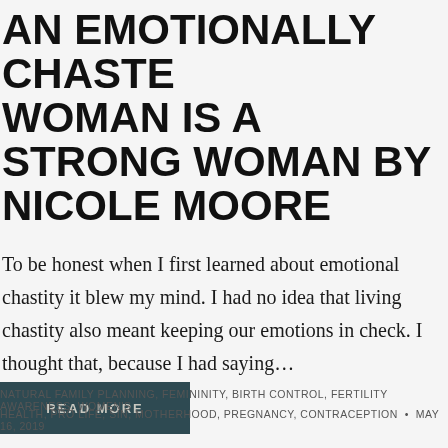AN EMOTIONALLY CHASTE WOMAN IS A STRONG WOMAN BY NICOLE MOORE
To be honest when I first learned about emotional chastity it blew my mind. I had no idea that living chastity also meant keeping our emotions in check. I thought that, because I had saying...
READ MORE
NATURAL FAMILY PLANNING, FEMININITY, BIRTH CONTROL, FERTILITY AWARENESS, WOMEN'S HEALTH, PRO LIFE, SIN, MOTHERHOOD, PREGNANCY, CONTRACEPTION • MAY 16, 2019